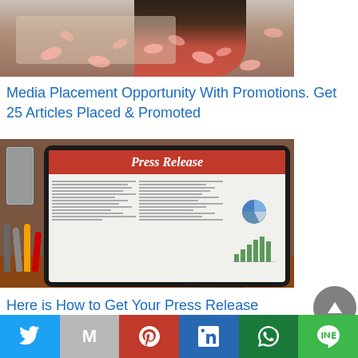[Figure (photo): Woman working at a desk with a computer, with decorative floral overlay elements]
Media Placement Opportunity With Promotions. Get 25 Articles Placed & Promoted
[Figure (photo): Tablet displaying a Press Release document with text columns, pie chart, and bar chart, alongside a glass of water and microphones]
Here is How to Get Your Press Release Distributed To 200+ Websites
Twitter | Gmail | Pinterest | LinkedIn | WhatsApp | Line social share buttons